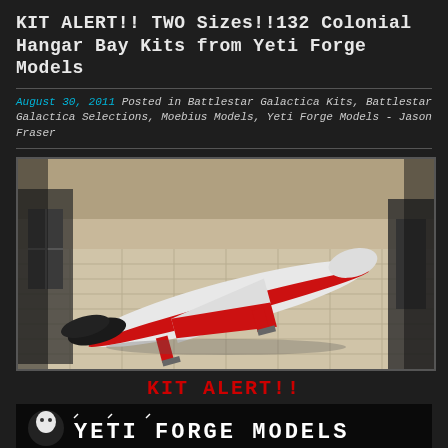KIT ALERT!! TWO Sizes!!132 Colonial Hangar Bay Kits from Yeti Forge Models
August 30, 2011 Posted in Battlestar Galactica Kits, Battlestar Galactica Selections, Moebius Models, Yeti Forge Models - Jason Fraser
[Figure (photo): Photo of a white and red Colonial Viper spaceship model in a hangar bay diorama with tiled floor, display stands visible on left and right sides]
KIT ALERT!!
[Figure (logo): Yeti Forge Models logo banner — white stylized text on dark background with small yeti/character icon on the left]